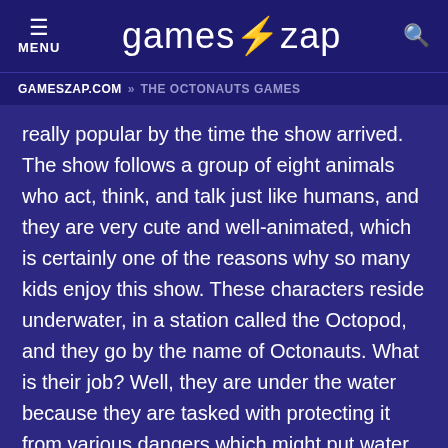MENU  games⚡zap
GAMESZAP.COM » THE OCTONAUTS GAMES
really popular by the time the show arrived. The show follows a group of eight animals who act, think, and talk just like humans, and they are very cute and well-animated, which is certainly one of the reasons why so many kids enjoy this show. These characters reside underwater, in a station called the Octopod, and they go by the name of Octonauts. What is their job? Well, they are under the water because they are tasked with protecting it from various dangers which might put water and the creatures in it in danger. That is why in each episode we see this team going out on all sorts of awesome missions, which allow children first to be entertained, but at the same time, it teaches them many interesting things regarding the world under the water, the creatures and plants in it, and of course, how to